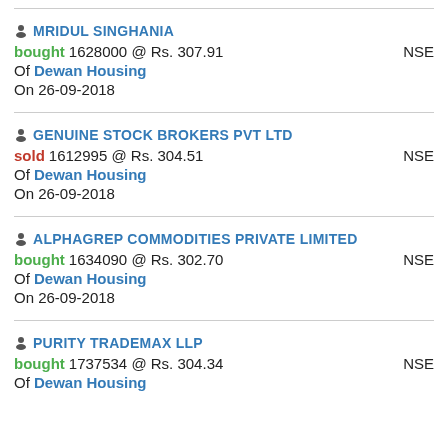MRIDUL SINGHANIA bought 1628000 @ Rs. 307.91 NSE Of Dewan Housing On 26-09-2018
GENUINE STOCK BROKERS PVT LTD sold 1612995 @ Rs. 304.51 NSE Of Dewan Housing On 26-09-2018
ALPHAGREP COMMODITIES PRIVATE LIMITED bought 1634090 @ Rs. 302.70 NSE Of Dewan Housing On 26-09-2018
PURITY TRADEMAX LLP bought 1737534 @ Rs. 304.34 NSE Of Dewan Housing